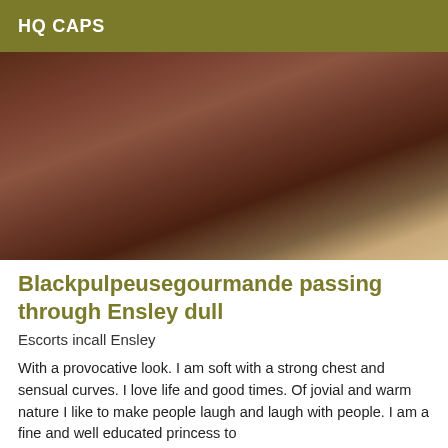HQ CAPS
[Figure (photo): Close-up photo of a person's legs/feet wearing heels, on a patterned rug with a light floor visible in the background.]
Blackpulpeusegourmande passing through Ensley dull
Escorts incall Ensley
With a provocative look. I am soft with a strong chest and sensual curves. I love life and good times. Of jovial and warm nature I like to make people laugh and laugh with people. I am a fine and well educated princess to please. I love tenderness and sensuality and I am a great